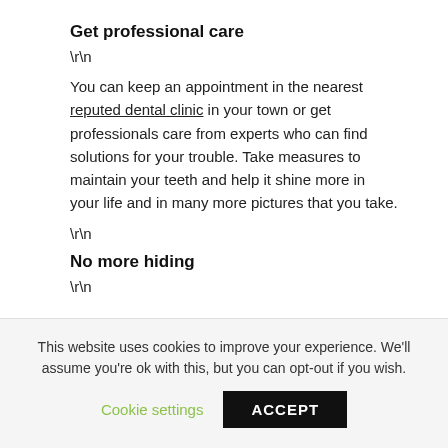Get professional care
\r\n
You can keep an appointment in the nearest reputed dental clinic in your town or get professionals care from experts who can find solutions for your trouble. Take measures to maintain your teeth and help it shine more in your life and in many more pictures that you take.
\r\n
No more hiding
\r\n
This website uses cookies to improve your experience. We'll assume you're ok with this, but you can opt-out if you wish.